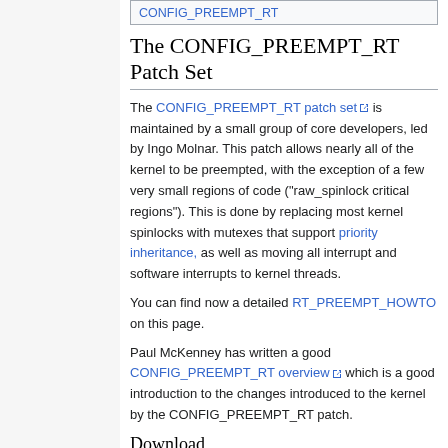CONFIG_PREEMPT_RT
The CONFIG_PREEMPT_RT Patch Set
The CONFIG_PREEMPT_RT patch set is maintained by a small group of core developers, led by Ingo Molnar. This patch allows nearly all of the kernel to be preempted, with the exception of a few very small regions of code ("raw_spinlock critical regions"). This is done by replacing most kernel spinlocks with mutexes that support priority inheritance, as well as moving all interrupt and software interrupts to kernel threads.
You can find now a detailed RT_PREEMPT_HOWTO on this page.
Paul McKenney has written a good CONFIG_PREEMPT_RT overview which is a good introduction to the changes introduced to the kernel by the CONFIG_PREEMPT_RT patch.
Download